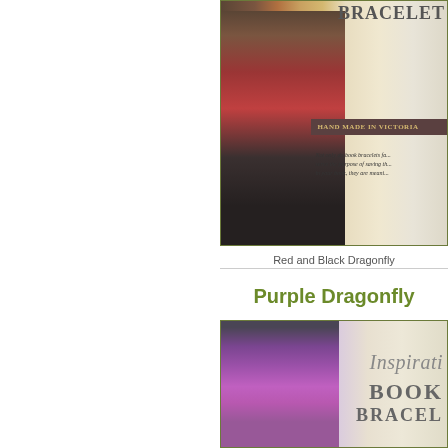[Figure (photo): Photo of a Red and Black Dragonfly book bracelet with dark beads and decorative charm, shown against a product card background with 'BRACELET', 'HAND MADE IN VICTORIA', and partial text about book bracelets.]
Red and Black Dragonfly
Purple Dragonfly
[Figure (photo): Photo of a Purple Dragonfly book bracelet with large purple beads, shown against a product card background with 'Inspiratio', 'BOOK', 'BRACEL' text visible.]